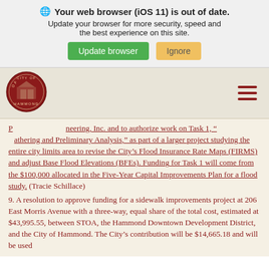[Figure (screenshot): Browser update warning banner with 'Update browser' green button and 'Ignore' tan button]
[Figure (logo): City of Hammond circular seal/logo in dark red]
P[artially obscured]neering, Inc. and to authorize work on Task 1, "[Data G]athering and Preliminary Analysis," as part of a larger project studying the entire city limits area to revise the City's Flood Insurance Rate Maps (FIRMS) and adjust Base Flood Elevations (BFEs). Funding for Task 1 will come from the $100,000 allocated in the Five-Year Capital Improvements Plan for a flood study. (Tracie Schillace)
9. A resolution to approve funding for a sidewalk improvements project at 206 East Morris Avenue with a three-way, equal share of the total cost, estimated at $43,995.55, between STOA, the Hammond Downtown Development District, and the City of Hammond. The City's contribution will be $14,665.18 and will be used